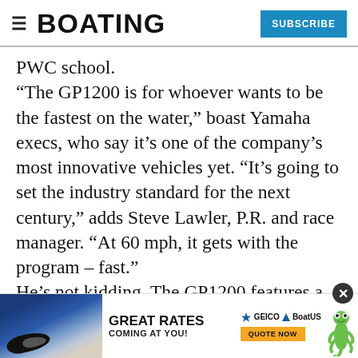BOATING | SUBSCRIBE
PWC school.
“The GP1200 is for whoever wants to be the fastest on the water,” boast Yamaha execs, who say it’s one of the company’s most innovative vehicles yet. “It’s going to set the industry standard for the next century,” adds Steve Lawler, P.R. and race manager. “At 60 mph, it gets with the program – fast.”
He’s not kidding. The GP1200 features a highly responsive throttle that seems to blast... out taking it for a cruise. Somehow...
[Figure (advertisement): GEICO BoatUS advertisement: boat image on left, GREAT RATES COMING AT YOU! text center, GEICO BoatUS logo and QUOTE NOW button right, gecko mascot far right]